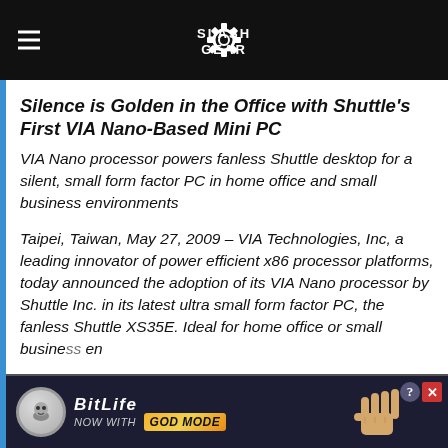SlashGear
Silence is Golden in the Office with Shuttle's First VIA Nano-Based Mini PC
VIA Nano processor powers fanless Shuttle desktop for a silent, small form factor PC in home office and small business environments
Taipei, Taiwan, May 27, 2009 – VIA Technologies, Inc, a leading innovator of power efficient x86 processor platforms, today announced the adoption of its VIA Nano processor by Shuttle Inc. in its latest ultra small form factor PC, the fanless Shuttle XS35E. Ideal for home office or small business environments
[Figure (screenshot): BitLife advertisement banner with coin mascot and 'NOW WITH GOD MODE' text on dark background, with a pointing hand graphic]